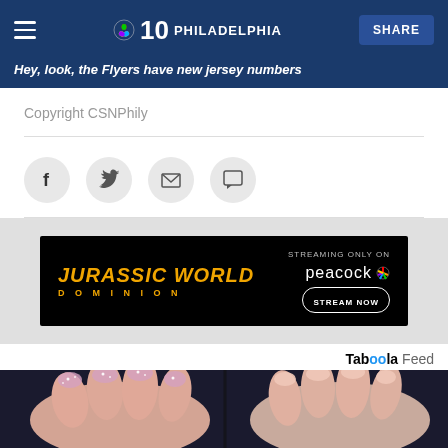NBC10 Philadelphia | SHARE
Hey, look, the Flyers have new jersey numbers
Copyright CSNPhily
[Figure (other): Social sharing buttons: Facebook, Twitter, Email, Comments]
[Figure (other): Advertisement banner: Jurassic World Dominion - Streaming Only On Peacock - Stream Now]
Taboola Feed
[Figure (photo): Close-up photo of fingers with glittery pink nail polish]